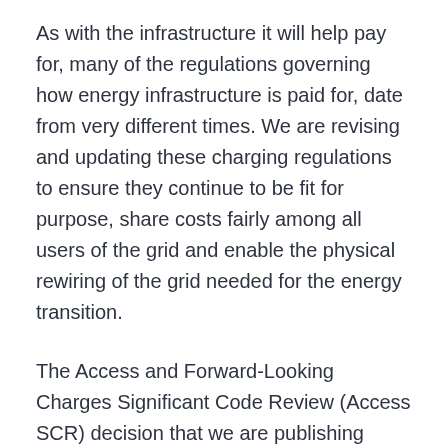As with the infrastructure it will help pay for, many of the regulations governing how energy infrastructure is paid for, date from very different times. We are revising and updating these charging regulations to ensure they continue to be fit for purpose, share costs fairly among all users of the grid and enable the physical rewiring of the grid needed for the energy transition.
The Access and Forward-Looking Charges Significant Code Review (Access SCR) decision that we are publishing today is part of this process.
Currently Distribution Network Operators (DNOs) - the companies who own and operate the